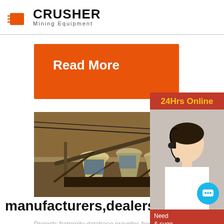[Figure (logo): Crusher Mining Equipment logo with shopping cart / mining icon in red and bold black CRUSHER text]
Read More
[Figure (photo): Industrial mining crusher machinery equipment at a quarry or mine site, showing large cone crushers and conveyor belts]
Electr Coal
manufacturers,dealers,supp
[Figure (photo): 24Hrs Online sidebar with female customer service representative wearing headset]
Need & sugg
Chat Now
Enquiry
limingjlmofen@sina.com
Projects fraternity database provides free onlin